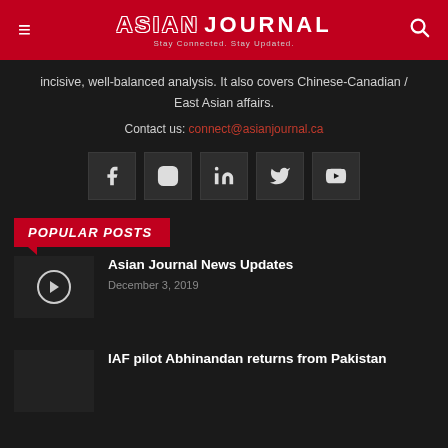ASIAN JOURNAL — Stay Connected. Stay Updated.
incisive, well-balanced analysis. It also covers Chinese-Canadian / East Asian affairs.
Contact us: connect@asianjournal.ca
[Figure (infographic): Five social media icon buttons: Facebook, Instagram, LinkedIn, Twitter, YouTube]
POPULAR POSTS
Asian Journal News Updates
December 3, 2019
IAF pilot Abhinandan returns from Pakistan